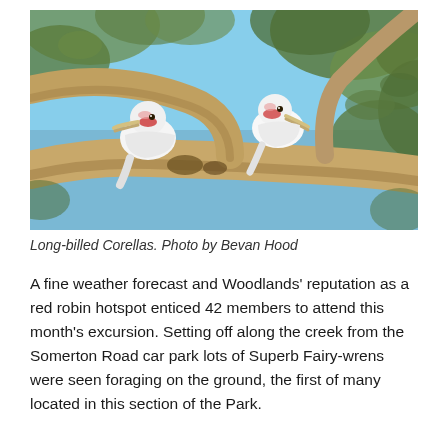[Figure (photo): Two Long-billed Corellas (white parrots with red facial markings) perched on a large eucalyptus branch. Blue sky and green leaves visible in background.]
Long-billed Corellas. Photo by Bevan Hood
A fine weather forecast and Woodlands' reputation as a red robin hotspot enticed 42 members to attend this month's excursion. Setting off along the creek from the Somerton Road car park lots of Superb Fairy-wrens were seen foraging on the ground, the first of many located in this section of the Park.